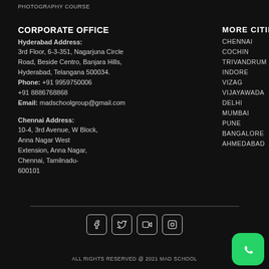PHOTOGRAPHY COURSE
CORPORATE OFFICE
Hyderabad Address:
3rd Floor, 6-3-351, Nagarjuna Circle Road, Beside Centro, Banjara Hills, Hyderabad, Telangana 500034.
Phone: +91 9959750006
+91 8886768868
Email: madschoolgroup@gmail.com
Chennai Address:
10-4, 3rd Avenue, W Block,
Anna Nagar West Extension, Anna Nagar, Chennai, Tamilnadu-600101
MORE CITIES
CHENNAI
COCHIN
TRIVANDRUM
INDORE
VIZAG
VIJAYAWADA
DELHI
MUMBAI
PUNE
BANGALORE
AHMEDABAD
[Figure (other): Social media icons: Facebook, Twitter, YouTube, Instagram in square rounded boxes]
ALL RIGHTS RESERVED @ 2021 MAD SCHOOL